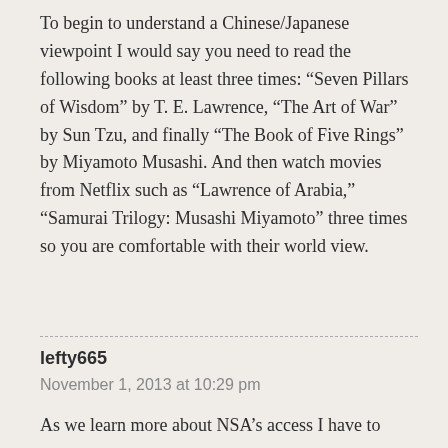To begin to understand a Chinese/Japanese viewpoint I would say you need to read the following books at least three times: “Seven Pillars of Wisdom” by T. E. Lawrence, “The Art of War” by Sun Tzu, and finally “The Book of Five Rings” by Miyamoto Musashi. And then watch movies from Netflix such as “Lawrence of Arabia,” “Samurai Trilogy: Musashi Miyamoto” three times so you are comfortable with their world view.
lefty665
November 1, 2013 at 10:29 pm
As we learn more about NSA’s access I have to